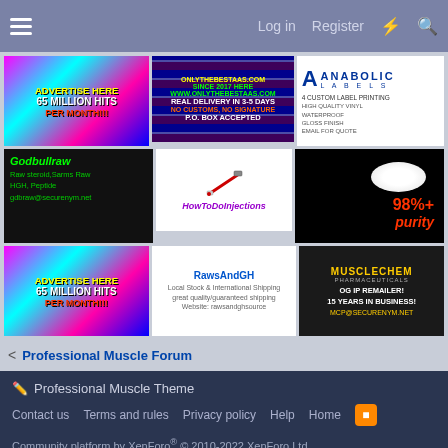Log in  Register
[Figure (photo): ADVERTISE HERE 65 MILLION HITS PER MONTH!!! banner ad]
[Figure (photo): OnlyTheBestAas.com - Since 2017, Real Delivery in 3-5 Days, No Customs, No Signature, P.O. Box Accepted banner]
[Figure (photo): Anabolic Labels - Custom Label Printing, High Quality Vinyl, Waterproof, Gloss Finish, Email for Quote]
[Figure (photo): Godbullraw - Raw steroid, Sarms Raw HGH, Peptide, gdbraw@securenym.net]
[Figure (photo): HowToDoInjections - syringe image with site name]
[Figure (photo): 98%+ purity - white powder image]
[Figure (photo): ADVERTISE HERE 65 MILLION HITS PER MONTH!!! banner ad]
[Figure (photo): RawsAndGH - Local Stock & International Shipping, great quality/guaranteed shipping, Website: rawsandghsource]
[Figure (photo): MuscleChem Pharmaceuticals - OG IP Remailer! 15 Years in Business! MCP@SECURENYM.NET]
< Professional Muscle Forum
Professional Muscle Theme
Contact us  Terms and rules  Privacy policy  Help  Home
Community platform by XenForo® © 2010-2022 XenForo Ltd.
Link Checker by AddonsLab
Width: Narrow < 480px · Queries: 29 · Time: 0.1107s · Memory: 5.16MB ·